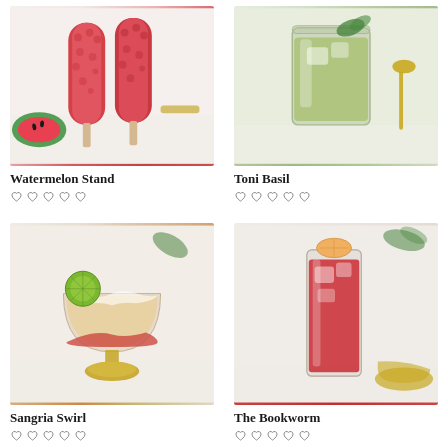[Figure (photo): Two red watermelon popsicles on ice with watermelon slice]
Watermelon Stand
[Figure (photo): Green drink in a clear glass with gold spoon on white surface]
Toni Basil
[Figure (photo): Frozen sangria swirl cocktail in a gold-stemmed coupe glass with lime garnish]
Sangria Swirl
[Figure (photo): Red cocktail in a tall glass with grapefruit garnish, The Bookworm]
The Bookworm